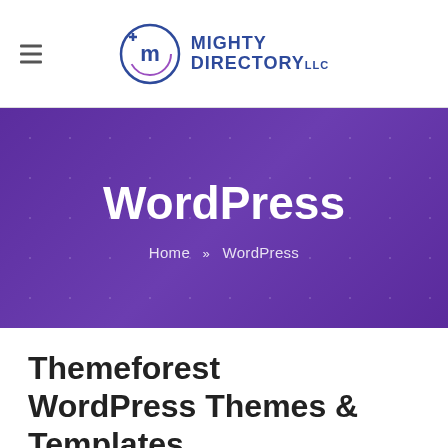[Figure (logo): Mighty Directory LLC logo with circular M icon and text]
WordPress
Home » WordPress
Themeforest WordPress Themes & Templates